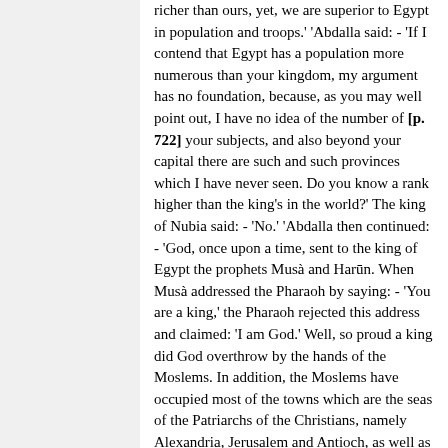richer than ours, yet, we are superior to Egypt in population and troops.' 'Abdalla said: - 'If I contend that Egypt has a population more numerous than your kingdom, my argument has no foundation, because, as you may well point out, I have no idea of the number of [p. 722] your subjects, and also beyond your capital there are such and such provinces which I have never seen. Do you know a rank higher than the king's in the world?' The king of Nubia said: - 'No.' 'Abdalla then continued: - 'God, once upon a time, sent to the king of Egypt the prophets Musà and Harūn. When Musà addressed the Pharaoh by saying: - 'You are a king,' the Pharaoh rejected this address and claimed: 'I am God.' Well, so proud a king did God overthrow by the hands of the Moslems. In addition, the Moslems have occupied most of the towns which are the seas of the Patriarchs of the Christians, namely Alexandria, Jerusalem and Antioch, as well as many other towns and regions. Therefore, give thanks to God for the distinguished favour he has bestowed upon you, by being content with it…